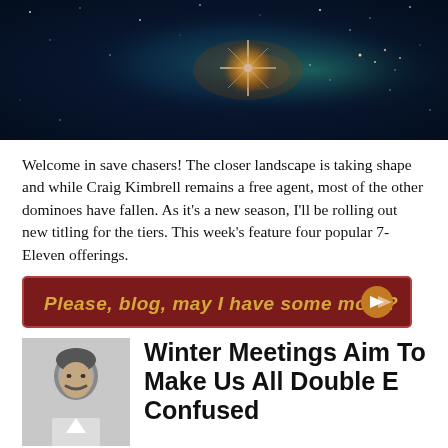[Figure (photo): Space/nebula photo showing stars and colorful cosmic gas clouds on a dark blue background with a bright central star.]
Welcome in save chasers! The closer landscape is taking shape and while Craig Kimbrell remains a free agent, most of the other dominoes have fallen. As it's a new season, I'll be rolling out new titling for the tiers. This week's feature four popular 7-Eleven offerings.
[Figure (infographic): Red banner button with gold italic text reading 'Please, blog, may I have some more?' and an orange circle arrow icon on the right.]
[Figure (photo): Black and white headshot photo of a man with a mustache.]
Winter Meetings Aim To Make Us All Double E Confused
December 14, 2018 | Fantasy Baseball Daily Notes | 56 Comments
Grey
[Figure (screenshot): Hulu Disney+ ESPN+ advertisement banner: GET THE DISNEY BUNDLE. Incl. Hulu (ad-supported) or Hulu (No Ads). Access content from each service separately. ©2021 Disney and its related entities]
The Wint… at was